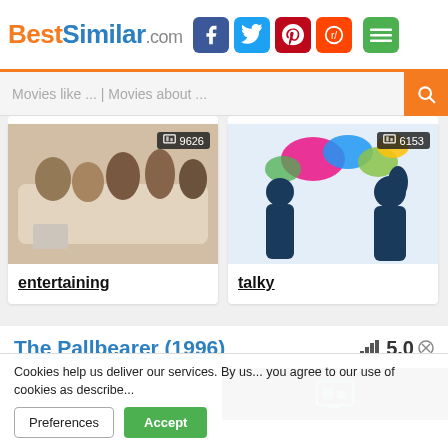BestSimilar.com
Movies like ... | Movies about ...
[Figure (photo): Group of young people sitting on a couch watching something and laughing, badge showing 9626]
entertaining
[Figure (illustration): Silhouettes of two people talking with colorful speech bubbles, badge showing 6153]
talky
The Pallbearer (1996)
5.0
Cookies help us deliver our services. By us... you agree to our use of cookies as describe...
Preferences
Accept